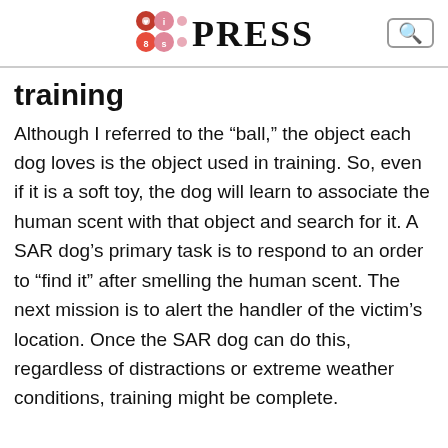PRESS
training
Although I referred to the “ball,” the object each dog loves is the object used in training. So, even if it is a soft toy, the dog will learn to associate the human scent with that object and search for it. A SAR dog’s primary task is to respond to an order to “find it” after smelling the human scent. The next mission is to alert the handler of the victim’s location. Once the SAR dog can do this, regardless of distractions or extreme weather conditions, training might be complete.